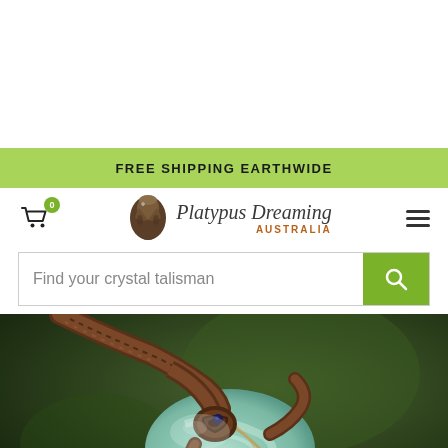FREE SHIPPING EARTHWIDE
[Figure (logo): Platypus Dreaming Australia logo with platypus illustration and italic serif text]
Find your crystal talisman
[Figure (photo): Close-up photo of a crystal talisman on a macrame/woven cord bracelet, showing a light blue/green stone with brown cord wrapping, on a green blurred background]